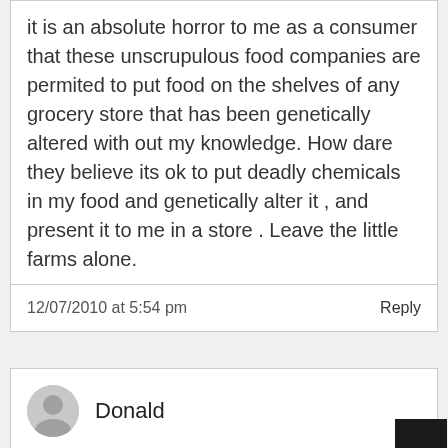it is an absolute horror to me as a consumer that these unscrupulous food companies are permited to put food on the shelves of any grocery store that has been genetically altered with out my knowledge. How dare they believe its ok to put deadly chemicals in my food and genetically alter it , and present it to me in a store . Leave the little farms alone.
12/07/2010 at 5:54 pm
Reply
Donald